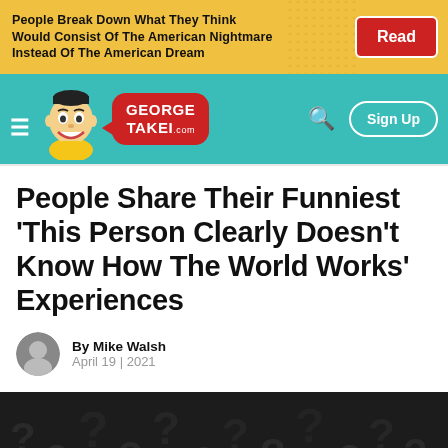[Figure (screenshot): Yellow banner ad: 'People Break Down What They Think Would Consist Of The American Nightmare Instead Of The American Dream' with a red Read button]
[Figure (logo): George Takei .com website navigation bar with teal background, cartoon mascot, logo, hamburger menu, search icon, and Sign Up button]
People Share Their Funniest 'This Person Clearly Doesn't Know How The World Works' Experiences
By Mike Walsh
April 19 | 2021
[Figure (photo): Dark abstract image showing many dark question mark symbols with one blue/cyan question mark, partially cropped at bottom of page]